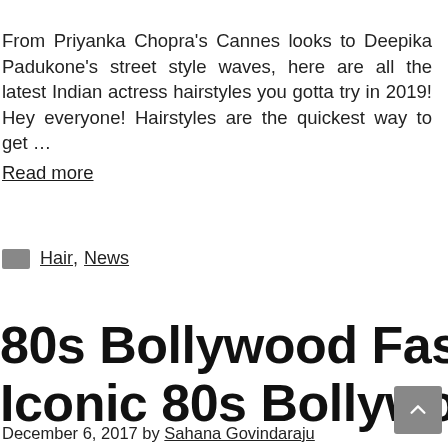From Priyanka Chopra's Cannes looks to Deepika Padukone's street style waves, here are all the latest Indian actress hairstyles you gotta try in 2019! Hey everyone! Hairstyles are the quickest way to get … Read more
Hair, News
80s Bollywood Fashion: The Iconic 80s Bollywood Trends
December 6, 2017 by Sahana Govindaraju